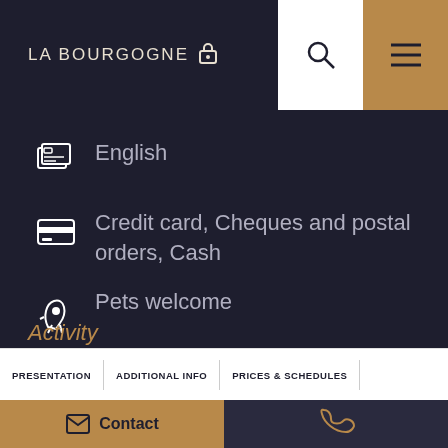LA BOURGOGNE
English
Credit card, Cheques and postal orders, Cash
Pets welcome
Activity
PRESENTATION | ADDITIONAL INFO | PRICES & SCHEDULES
Contact